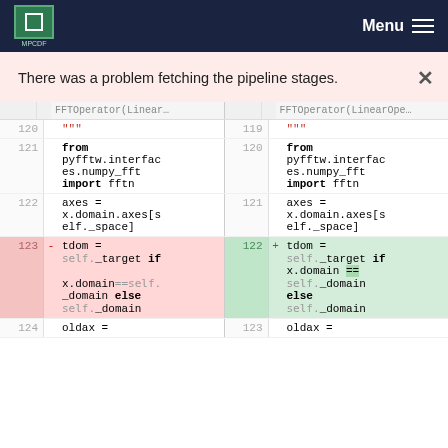MPCDF  Menu
There was a problem fetching the pipeline stages.
| line | code (left) | line | code (right) |
| --- | --- | --- | --- |
|  | FFTOperator(Linear… |  | FFTOperator(LinearOpe… |
| 120 | """ | 119 | """ |
| 121 | from pyfftw.interfaces.numpy_fft import fftn | 120 | from pyfftw.interfaces.numpy_fft import fftn |
| 122 | axes = x.domain.axes[self._space] | 121 | axes = x.domain.axes[self._space] |
| 123 - | tdom = self._target if x.domain==self._domain else self._domain | 122 + | tdom = self._target if x.domain == self._domain else self._domain |
| 124 | oldax = | 123 | oldax = |